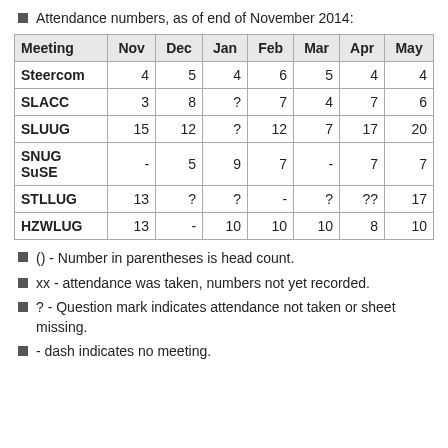Attendance numbers, as of end of November 2014:
| Meeting | Nov | Dec | Jan | Feb | Mar | Apr | May |
| --- | --- | --- | --- | --- | --- | --- | --- |
| Steercom | 4 | 5 | 4 | 6 | 5 | 4 | 4 |
| SLACC | 3 | 8 | ? | 7 | 4 | 7 | 6 |
| SLUUG | 15 | 12 | ? | 12 | 7 | 17 | 20 |
| SNUG SuSE | - | 5 | 9 | 7 | - | 7 | 7 |
| STLLUG | 13 | ? | ? | - | ? | ?? | 17 |
| HZWLUG | 13 | - | 10 | 10 | 10 | 8 | 10 |
() - Number in parentheses is head count.
xx - attendance was taken, numbers not yet recorded.
? - Question mark indicates attendance not taken or sheet missing.
- dash indicates no meeting.